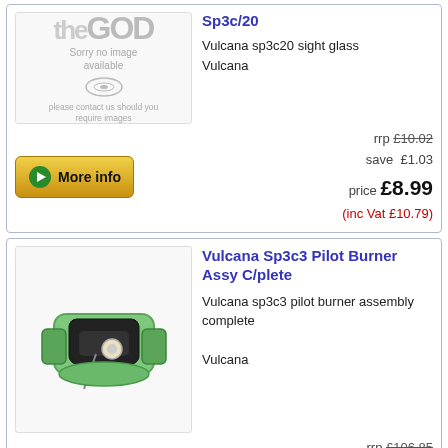Sp3c/20
Vulcana sp3c20 sight glass
Vulcana
rrp £10.02
save £1.03
price £8.99
(inc Vat £10.79)
[Figure (other): More info button with green arrow]
Vulcana Sp3c3 Pilot Burner Assy C/plete
Vulcana sp3c3 pilot burner assembly complete
Vulcana
rrp £106.85
save £11.02
price £95.83
(inc Vat £115.00)
[Figure (other): More info button with green arrow]
Vulcana Sp3c8 Electrode